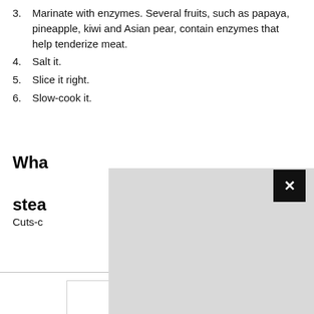3. Marinate with enzymes. Several fruits, such as papaya, pineapple, kiwi and Asian pear, contain enzymes that help tenderize meat.
4. Salt it.
5. Slice it right.
6. Slow-cook it.
What is a good cut of chuck steak?
Cuts-c
[Figure (screenshot): Gray popup overlay with black X close button partially covering the section header and body text]
[Figure (screenshot): Advertisement banner: Shop Online, Pickup Today - World Market, with logo and navigation icon]